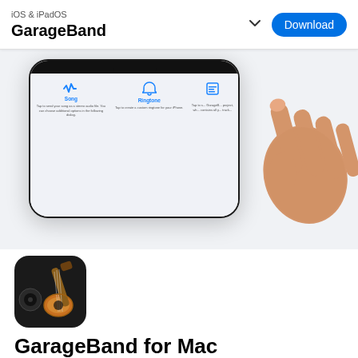iOS & iPadOS
GarageBand
[Figure (screenshot): Screenshot of GarageBand iOS interface showing a phone screen with Song, Ringtone options and a hand pointing at the screen]
[Figure (logo): GarageBand app icon — guitar on dark background with rounded corners]
GarageBand for Mac
Your personal music creation studio.